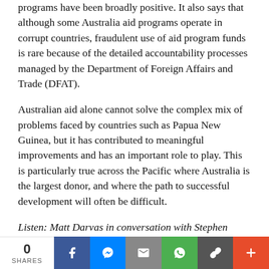programs have been broadly positive. It also says that although some Australia aid programs operate in corrupt countries, fraudulent use of aid program funds is rare because of the detailed accountability processes managed by the Department of Foreign Affairs and Trade (DFAT).
Australian aid alone cannot solve the complex mix of problems faced by countries such as Papua New Guinea, but it has contributed to meaningful improvements and has an important role to play. This is particularly true across the Pacific where Australia is the largest donor, and where the path to successful development will often be difficult.
Listen: Matt Darvas in conversation with Stephen